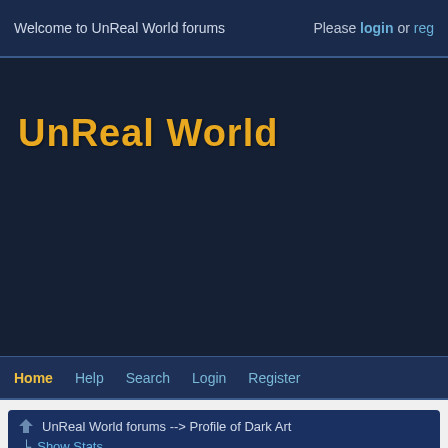Welcome to UnReal World forums   Please login or reg
UnReal World
Home  Help  Search  Login  Register
UnReal World forums --> Profile of Dark Art
↳ Show Stats
Profile Info